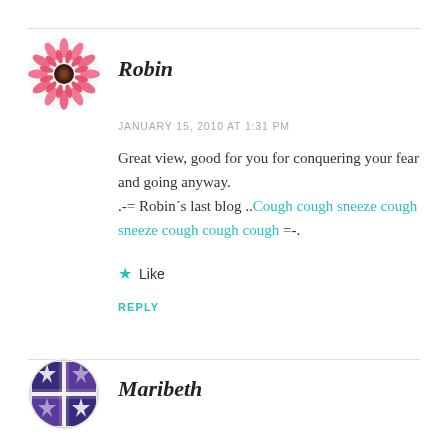[Figure (illustration): Circular avatar with a pink gerbera daisy flower on white background]
Robin
JANUARY 15, 2010 AT 1:31 PM
Great view, good for you for conquering your fear and going anyway.
.-= Robin´s last blog ..Cough cough sneeze cough sneeze cough cough cough =-.
★ Like
REPLY
[Figure (illustration): Circular avatar with a quilt-pattern or decorative geometric design in blue/purple and white]
Maribeth